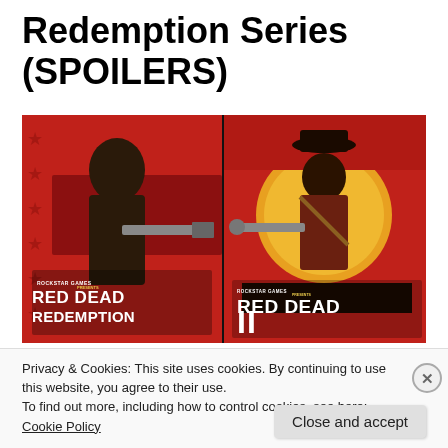Redemption Series (SPOILERS)
[Figure (illustration): Side-by-side cover art of Red Dead Redemption (left, red background with John Marston holding a shotgun, Rockstar Games logo) and Red Dead Redemption II (right, orange sunset background with Arthur Morgan holding a revolver, Rockstar Games logo).]
Privacy & Cookies: This site uses cookies. By continuing to use this website, you agree to their use.
To find out more, including how to control cookies, see here: Cookie Policy
Close and accept